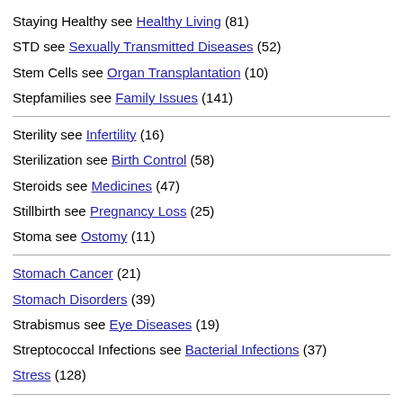Staying Healthy see Healthy Living (81)
STD see Sexually Transmitted Diseases (52)
Stem Cells see Organ Transplantation (10)
Stepfamilies see Family Issues (141)
Sterility see Infertility (16)
Sterilization see Birth Control (58)
Steroids see Medicines (47)
Stillbirth see Pregnancy Loss (25)
Stoma see Ostomy (11)
Stomach Cancer (21)
Stomach Disorders (39)
Strabismus see Eye Diseases (19)
Streptococcal Infections see Bacterial Infections (37)
Stress (128)